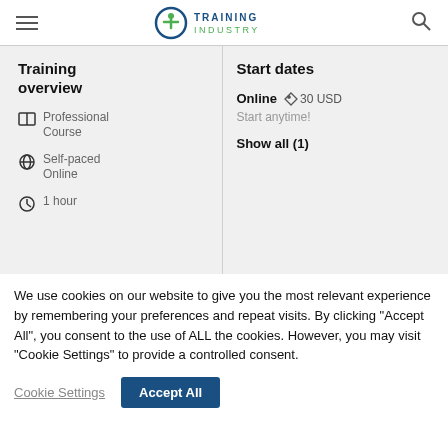Training Industry
Training overview
Professional Course
Self-paced Online
1 hour
Start dates
Online  🏷 30 USD
Start anytime!
Show all (1)
We use cookies on our website to give you the most relevant experience by remembering your preferences and repeat visits. By clicking “Accept All”, you consent to the use of ALL the cookies. However, you may visit “Cookie Settings” to provide a controlled consent.
Cookie Settings  Accept All